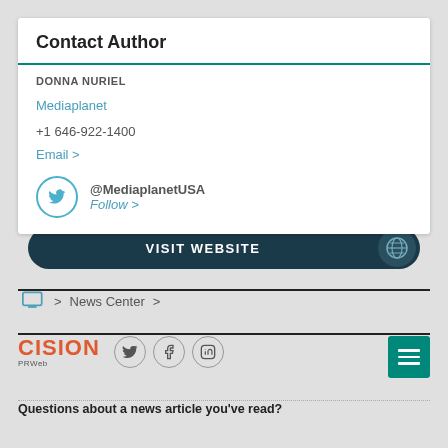Contact Author
DONNA NURIEL
Mediaplanet
+1 646-922-1400
Email >
@MediaplanetUSA
Follow >
VISIT WEBSITE
> News Center >
[Figure (logo): Cision PRWeb logo with Twitter, Facebook, LinkedIn social icons and a teal hamburger menu button]
Questions about a news article you've read?